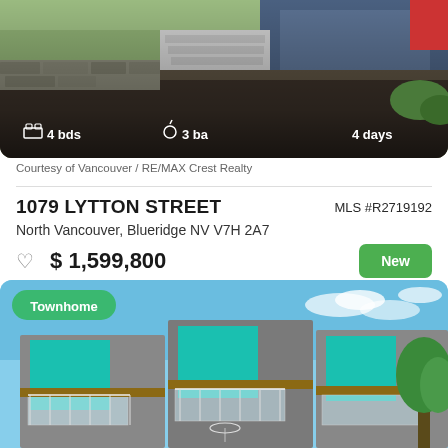[Figure (photo): Exterior photo of house with landscaping, stone retaining wall, garage door visible at top; showing 4 bds, 3 ba, listed 4 days ago]
Courtesy of Vancouver / RE/MAX Crest Realty
1079 LYTTON STREET
MLS #R2719192
North Vancouver, Blueridge NV V7H 2A7
$ 1,599,800
New
[Figure (photo): Modern townhome exterior with teal/turquoise accent panels, glass balcony railings, wood trim, blue sky background. Townhome badge visible.]